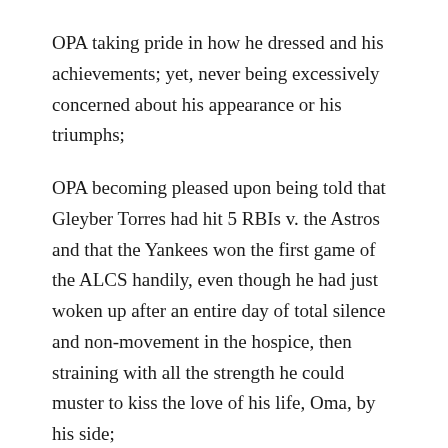OPA taking pride in how he dressed and his achievements; yet, never being excessively concerned about his appearance or his triumphs;
OPA becoming pleased upon being told that Gleyber Torres had hit 5 RBIs v. the Astros and that the Yankees won the first game of the ALCS handily, even though he had just woken up after an entire day of total silence and non-movement in the hospice, then straining with all the strength he could muster to kiss the love of his life, Oma, by his side;
OPA understanding, like Sylvia Plath, that there may be some stuff a hot bath won't cure, but not knowing many of them, and passing along this valuable insight to his progeny;